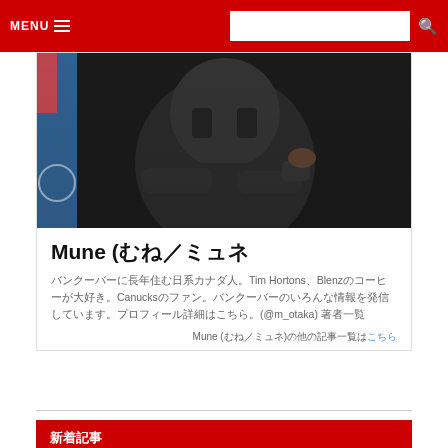MENU  [search box]  [search icon]
[Figure (photo): Person in a dark jacket with arms crossed, colorful background visible on left side]
Mune (ミュネ／むね)
バンクーバーに長年住む日系カナダ人。Tim HortonsとBlenzのコーヒーが大好き。Canucksのファン。バンクーバーのいろんな情報を発信しています。プロフィール詳細はこちら。(@m_otaka) 著者一覧
Mune (ミュネ／むね)の他の記事一覧はこちら
新着記事
バンクーバーno.149：バンクーバーのカフェレストランの最新情報！